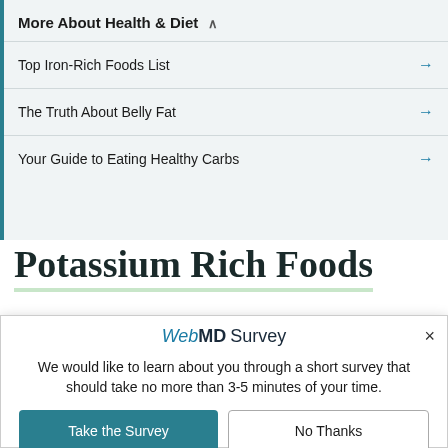More About Health & Diet ∧
Top Iron-Rich Foods List →
The Truth About Belly Fat →
Your Guide to Eating Healthy Carbs →
Potassium Rich Foods
[Figure (screenshot): WebMD Survey modal dialog with 'Take the Survey' and 'No Thanks' buttons, and a footer note about WebMD Marketing Research department and privacy policy.]